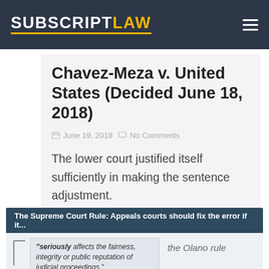SUBSCRIPT LAW
Chavez-Meza v. United States (Decided June 18, 2018)
June 19, 2018   No Comments
The lower court justified itself sufficiently in making the sentence adjustment.
Read More →
The Supreme Court Rule: Appeals courts should fix the error if it...
"seriously affects the fairness, integrity or public reputation of judicial proceedings."
the Olano rule